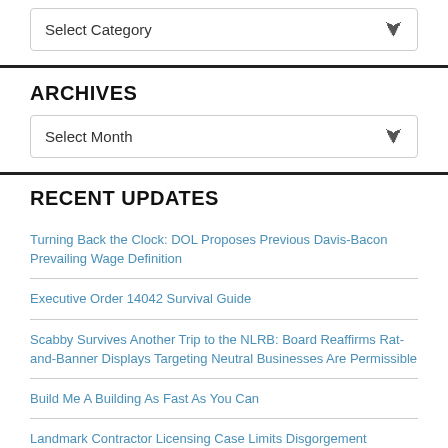Select Category
ARCHIVES
Select Month
RECENT UPDATES
Turning Back the Clock: DOL Proposes Previous Davis-Bacon Prevailing Wage Definition
Executive Order 14042 Survival Guide
Scabby Survives Another Trip to the NLRB: Board Reaffirms Rat-and-Banner Displays Targeting Neutral Businesses Are Permissible
Build Me A Building As Fast As You Can
Landmark Contractor Licensing Case Limits Disgorgement Remedy in California
VIEW ALL SHEPPARD MULLIN BLOGS